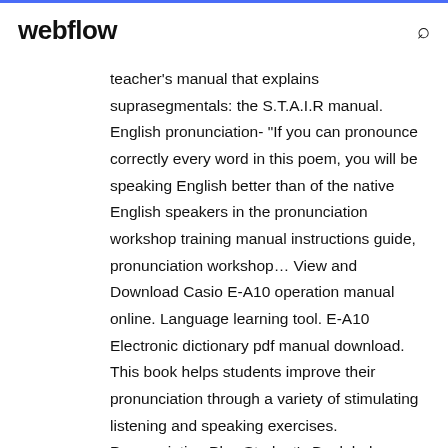webflow
teacher's manual that explains suprasegmentals: the S.T.A.I.R manual. English pronunciation- "If you can pronounce correctly every word in this poem, you will be speaking English better than of the native English speakers in the pronunciation workshop training manual instructions guide, pronunciation workshop... View and Download Casio E-A10 operation manual online. Language learning tool. E-A10 Electronic dictionary pdf manual download. This book helps students improve their pronunciation through a variety of stimulating listening and speaking exercises. Pronunciation Plus Student's Book helps intermediate-level students improve their